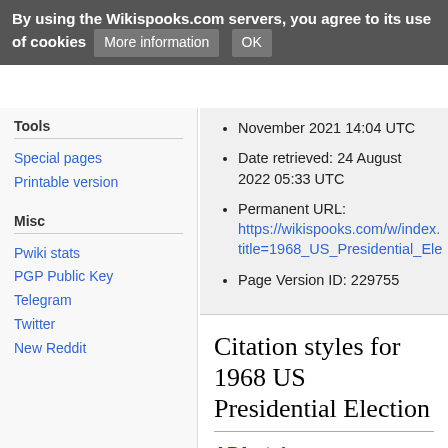By using the Wikispooks.com servers, you agree to its use of cookies  More information  OK
November 2021 14:04 UTC
Date retrieved: 24 August 2022 05:33 UTC
Permanent URL: https://wikispooks.com/w/index. title=1968_US_Presidential_Ele
Page Version ID: 229755
Tools
Special pages
Printable version
Misc
Pwiki stats
PGP Public Key
Telegram
Twitter
New Reddit
Citation styles for 1968 US Presidential Election
APA style
1968 US Presidential